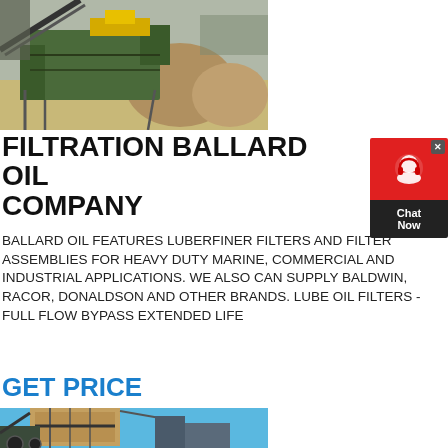[Figure (photo): Heavy industrial mining/crushing machinery with green metal structure and large rocks, sandy environment]
FILTRATION BALLARD OIL COMPANY
[Figure (other): Red and black chat widget with headset icon and 'Chat Now' text]
BALLARD OIL FEATURES LUBERFINER FILTERS AND FILTER ASSEMBLIES FOR HEAVY DUTY MARINE, COMMERCIAL AND INDUSTRIAL APPLICATIONS. WE ALSO CAN SUPPLY BALDWIN, RACOR, DONALDSON AND OTHER BRANDS. LUBE OIL FILTERS -FULL FLOW BYPASS EXTENDED LIFE
GET PRICE
[Figure (photo): Industrial machinery or crusher equipment against a blue sky, brown/tan colored structure with mechanical components visible at bottom]